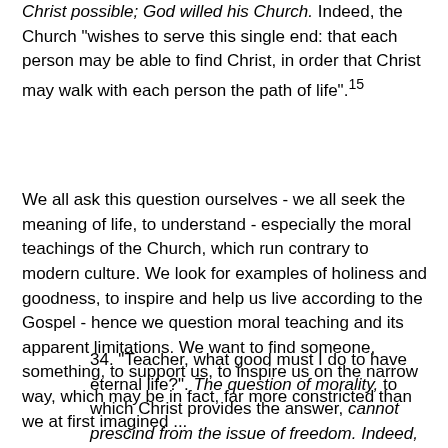Christ possible; God willed his Church. Indeed, the Church "wishes to serve this single end: that each person may be able to find Christ, in order that Christ may walk with each person the path of life".15
We all ask this question ourselves - we all seek the meaning of life, to understand - especially the moral teachings of the Church, which run contrary to modern culture.  We look for examples of holiness and goodness, to inspire and help us live according to the Gospel - hence we question moral teaching and its apparent limitations.  We want to find someone, something, to support us, to inspire us on the narrow way, which may be in fact, far more constricted than we at first imagined ...
34. "Teacher, what good must I do to have eternal life?". The question of morality, to which Christ provides the answer, cannot prescind from the issue of freedom. Indeed, it considers that issue central, for there can be no morality without freedom: "It is only in freedom that man can turn to what is good".56 But what sort of freedom? The